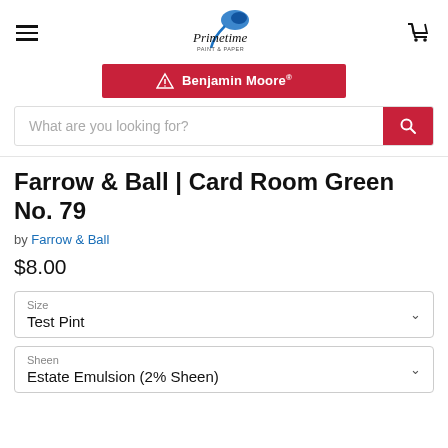[Figure (logo): Primetime Paint & Paper logo with shopping cart and hamburger menu icons in header]
[Figure (logo): Benjamin Moore red banner logo]
What are you looking for?
Farrow & Ball | Card Room Green No. 79
by Farrow & Ball
$8.00
Size
Test Pint
Sheen
Estate Emulsion (2% Sheen)